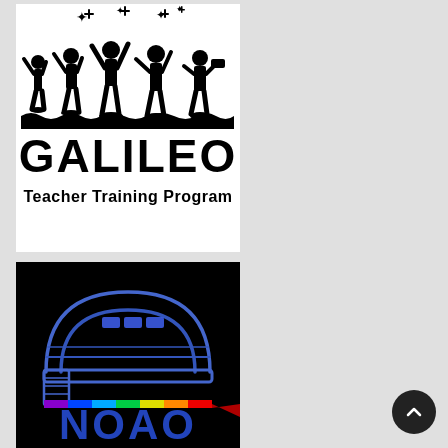[Figure (logo): GALILEO Teacher Training Program logo: silhouettes of children pointing at stars with bold text GALILEO and subtitle Teacher Training Program on white background]
[Figure (logo): NOAO (National Optical Astronomy Observatory) logo: telescope dome illustration with spectrum rainbow stripe and blue NOAO text on black background]